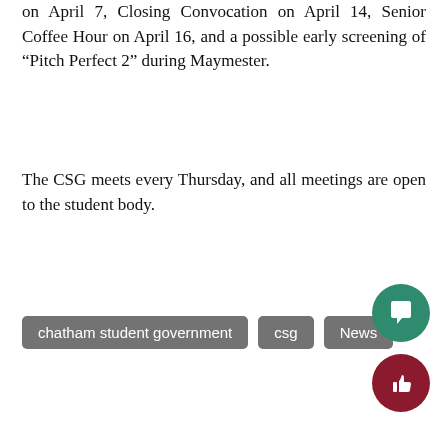on April 7, Closing Convocation on April 14, Senior Coffee Hour on April 16, and a possible early screening of “Pitch Perfect 2” during Maymester.
The CSG meets every Thursday, and all meetings are open to the student body.
chatham student government
csg
News
Leave a Comment